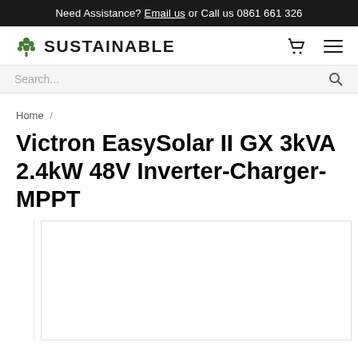Need Assistance? Email us or Call us 0861 661 326
[Figure (logo): Sustainable brand logo with green tree icon and SUSTAINABLE text]
Search...
Home /
Victron EasySolar II GX 3kVA 2.4kW 48V Inverter-Charger-MPPT
[Figure (photo): Product image placeholder area for Victron EasySolar II GX device]